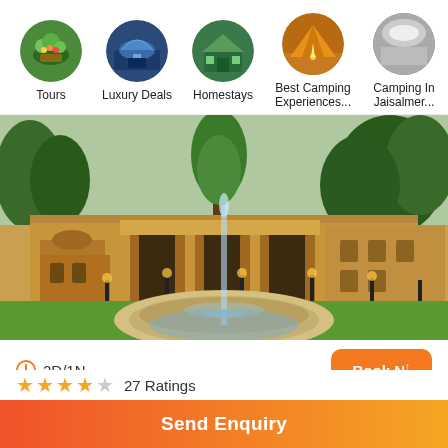[Figure (screenshot): Navigation bar with circular category icons: Tours, Luxury Deals, Homestays, Best Camping Experiences..., Camping In Jaisalmer..., Bes...]
[Figure (photo): Rajasthani palace/hotel with ornate sandstone architecture, arched entrances, a large decorative fountain in the foreground on green lawns, trees in background.]
2D/1N
27 Ratings
Send Enquiry